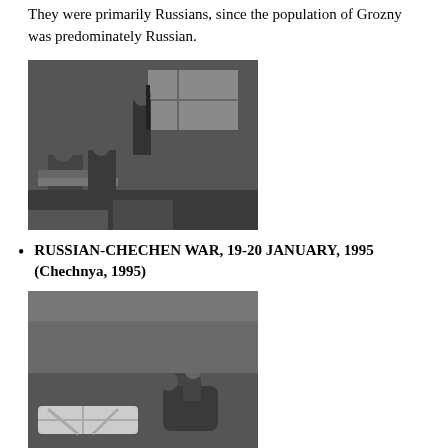They were primarily Russians, since the population of Grozny was predominately Russian.
[Figure (photo): Black and white photograph of people inside a building; a person holding a rifle stands in the center while others sit around a table.]
RUSSIAN-CHECHEN WAR, 19-20 JANUARY, 1995 (Chechnya, 1995)
[Figure (photo): Black and white photograph of people huddled together on a floor, including children, with a wrapped object in the foreground.]
RUSSIAN-CHECHEN WAR, 19-20 JANUARY, 1995 (Chechnya, 1995)
[Figure (photo): Black and white photograph partially visible at the bottom of the page, showing people in a war-related scene.]